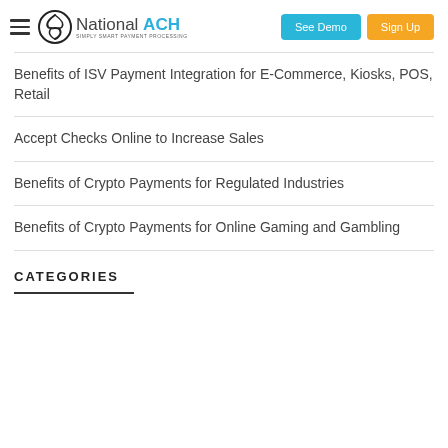National ACH — Simply Smart Payment Processing | See Demo | Sign Up
Benefits of ISV Payment Integration for E-Commerce, Kiosks, POS, Retail
Accept Checks Online to Increase Sales
Benefits of Crypto Payments for Regulated Industries
Benefits of Crypto Payments for Online Gaming and Gambling
CATEGORIES